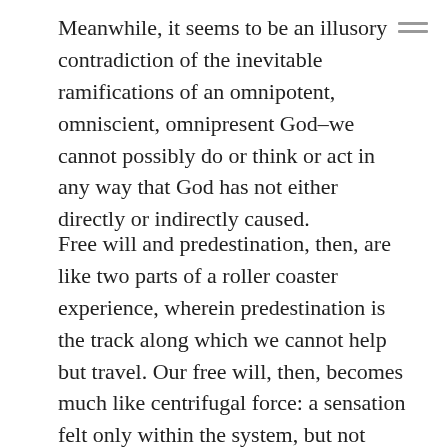Meanwhile, it seems to be an illusory contradiction of the inevitable ramifications of an omnipotent, omniscient, omnipresent God–we cannot possibly do or think or act in any way that God has not either directly or indirectly caused.
Free will and predestination, then, are like two parts of a roller coaster experience, wherein predestination is the track along which we cannot help but travel. Our free will, then, becomes much like centrifugal force: a sensation felt only within the system, but not actually existing. As you enter the loop, you swear you are being sucked down towards the center. Take off your seat belt, however, and if you're moving fast enough you'll find that you don't fall out. Remove the track,